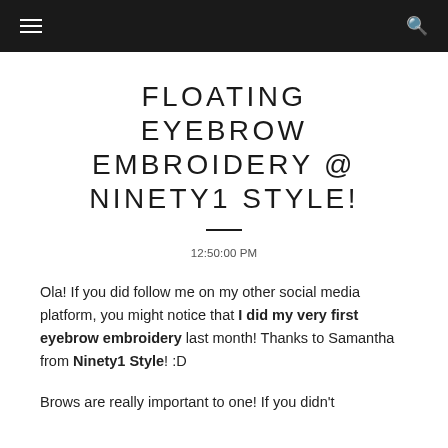[navigation bar with hamburger menu and search icon]
FLOATING EYEBROW EMBROIDERY @ NINETY1 STYLE!
12:50:00 PM
Ola! If you did follow me on my other social media platform, you might notice that I did my very first eyebrow embroidery last month! Thanks to Samantha from Ninety1 Style! :D
Brows are really important to one! If you didn't